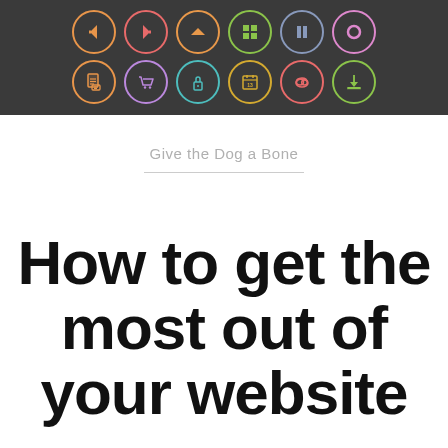[Figure (illustration): Dark gray background section showing two rows of colorful circular icons on dark background. Top row includes icons with arrows, document, grid/squares, pause, and circle. Bottom row includes document/file, shopping cart, padlock, calendar (13), cloud, and download icons. Each icon is inside a colored circle outline on the dark background.]
Give the Dog a Bone
How to get the most out of your website